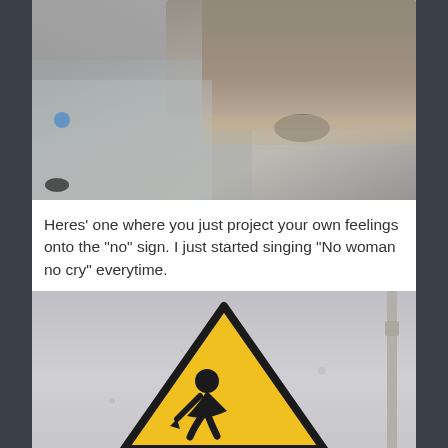[Figure (photo): Street photo showing wet pavement with a car parked along a sidewalk/curb. The road appears flooded or very wet. A person's feet or legs are barely visible on the left edge.]
Heres' one where you just project your own feelings onto the “no” sign. I just started singing “No woman no cry” everytime.
[Figure (photo): A yellow warning triangle sign mounted on a gray wall. The sign contains a black silhouette of a person in a bent-over or digging/falling posture, similar to a pedestrian or falling person warning sign.]